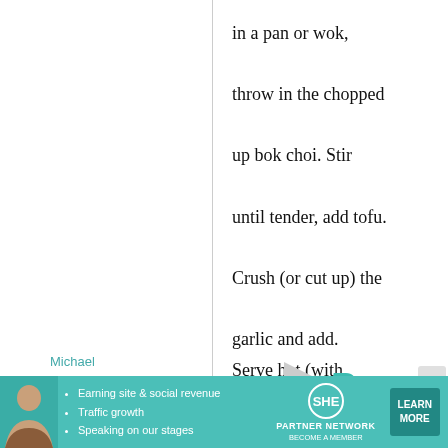in a pan or wok, throw in the chopped up bok choi. Stir until tender, add tofu. Crush (or cut up) the garlic and add. Serve hot (with chili/soy/sesame seeds to taste)
Michael
2 June,
Re: Book
[Figure (other): Advertisement banner for SHE Partner Network featuring a woman's photo, bullet points about earning site & social revenue, traffic growth, speaking on our stages, and a Learn More button.]